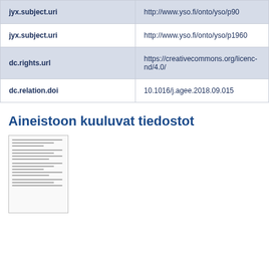| Field | Value |  |
| --- | --- | --- |
| jyx.subject.uri | http://www.yso.fi/onto/yso/p90 |  |
| jyx.subject.uri | http://www.yso.fi/onto/yso/p1960 |  |
| dc.rights.url | https://creativecommons.org/licenses/by-nc-nd/4.0/ |  |
| dc.relation.doi | 10.1016/j.agee.2018.09.015 |  |
Aineistoon kuuluvat tiedostot
[Figure (other): Thumbnail preview of a document file]